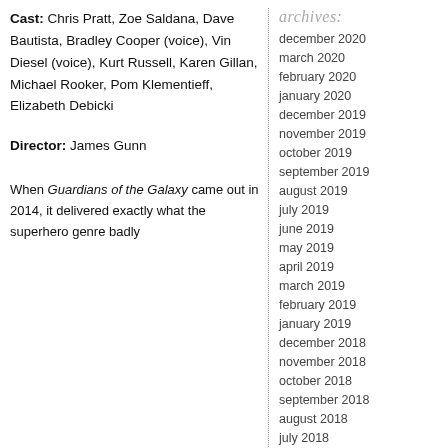Cast: Chris Pratt, Zoe Saldana, Dave Bautista, Bradley Cooper (voice), Vin Diesel (voice), Kurt Russell, Karen Gillan, Michael Rooker, Pom Klementieff, Elizabeth Debicki
Director: James Gunn
When Guardians of the Galaxy came out in 2014, it delivered exactly what the superhero genre badly
archives:
december 2020
march 2020
february 2020
january 2020
december 2019
november 2019
october 2019
september 2019
august 2019
july 2019
june 2019
may 2019
april 2019
march 2019
february 2019
january 2019
december 2018
november 2018
october 2018
september 2018
august 2018
july 2018
june 2018
may 2018
april 2018
march 2018
february 2018
january 2018
december 2017
november 2017
october 2017